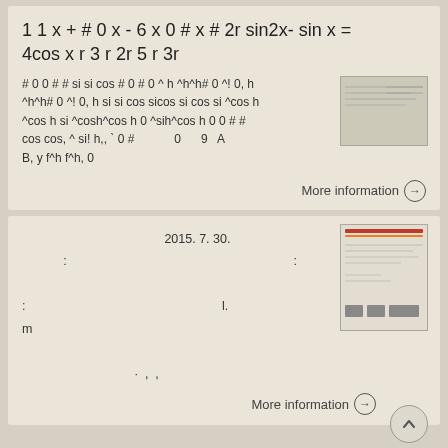# 0 0 # # si si cos # 0 # 0 ^ h ^h^h# 0 ^! 0, h ^h^h# 0 ^! 0, h si si cos sicos si cos si ^cos h ^cos h si ^cosh^cos h 0 ^sih^cos h 0 0 # # cos cos, ^ si! h,, ` 0 #  0  9  A B, y f^h f^h, 0
More information →
2015. 7. 30. : : : l. m ' , ,
More information →